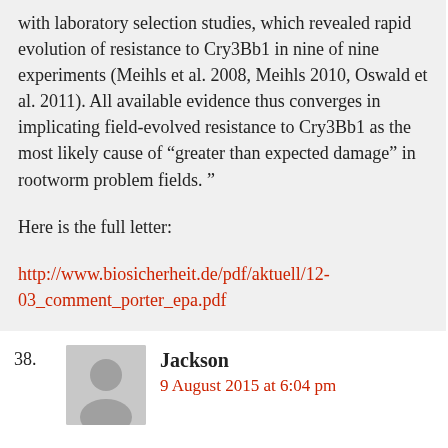with laboratory selection studies, which revealed rapid evolution of resistance to Cry3Bb1 in nine of nine experiments (Meihls et al. 2008, Meihls 2010, Oswald et al. 2011). All available evidence thus converges in implicating field-evolved resistance to Cry3Bb1 as the most likely cause of “greater than expected damage” in rootworm problem fields. ”
Here is the full letter:
http://www.biosicherheit.de/pdf/aktuell/12-03_comment_porter_epa.pdf
38.
[Figure (illustration): Generic user avatar silhouette in grey]
Jackson
9 August 2015 at 6:04 pm